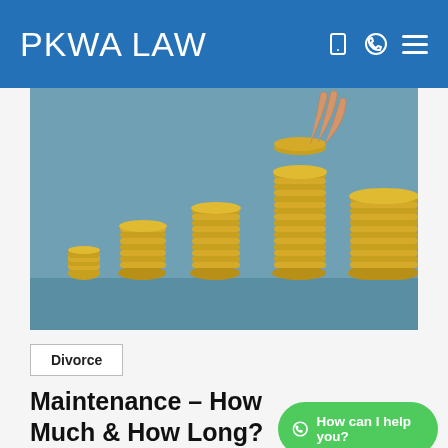PKWA LAW
[Figure (photo): Stacked gold coins of increasing height arranged in ascending order, with a hand placing a coin on the tallest stack, on a blue-grey background.]
Divorce
Maintenance – How Much & How Long?
How can I help you?